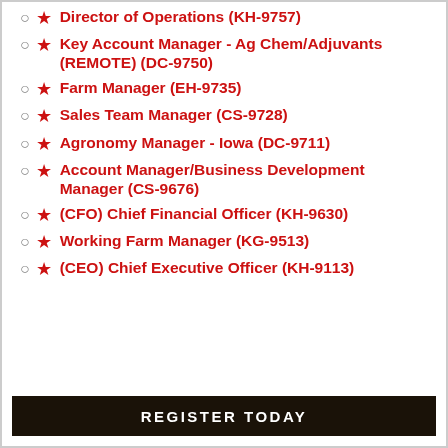Director of Operations (KH-9757)
Key Account Manager - Ag Chem/Adjuvants (REMOTE) (DC-9750)
Farm Manager (EH-9735)
Sales Team Manager (CS-9728)
Agronomy Manager - Iowa (DC-9711)
Account Manager/Business Development Manager (CS-9676)
(CFO) Chief Financial Officer (KH-9630)
Working Farm Manager (KG-9513)
(CEO) Chief Executive Officer (KH-9113)
REGISTER TODAY